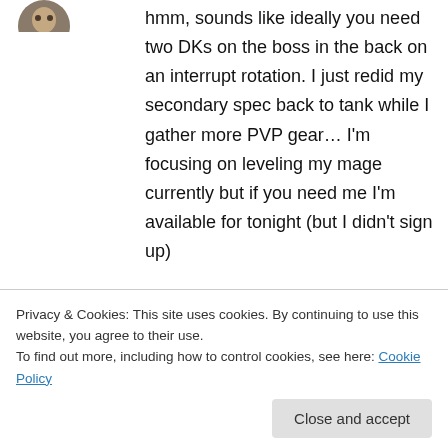[Figure (photo): User avatar at top left, partially visible]
hmm, sounds like ideally you need two DKs on the boss in the back on an interrupt rotation. I just redid my secondary spec back to tank while I gather more PVP gear… I'm focusing on leveling my mage currently but if you need me I'm available for tonight (but I didn't sign up)
Ktok on June 10, 2009 at 9:38 am
[Figure (photo): User avatar for Ktok]
Hmm... We actually don't interrupt the nuker, at
just ignore the dwar for the first phase and heal
Privacy & Cookies: This site uses cookies. By continuing to use this website, you agree to their use.
To find out more, including how to control cookies, see here: Cookie Policy
Close and accept